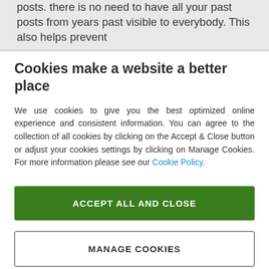posts. there is no need to have all your past posts from years past visible to everybody. This also helps prevent
Cookies make a website a better place
We use cookies to give you the best optimized online experience and consistent information. You can agree to the collection of all cookies by clicking on the Accept & Close button or adjust your cookies settings by clicking on Manage Cookies. For more information please see our Cookie Policy.
ACCEPT ALL AND CLOSE
MANAGE COOKIES